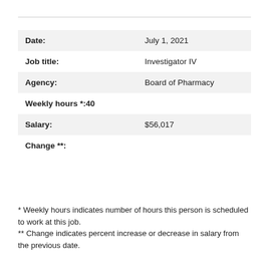| Field | Value |
| --- | --- |
| Date: | July 1, 2021 |
| Job title: | Investigator IV |
| Agency: | Board of Pharmacy |
| Weekly hours *: | 40 |
| Salary: | $56,017 |
| Change **: |  |
* Weekly hours indicates number of hours this person is scheduled to work at this job.
** Change indicates percent increase or decrease in salary from the previous date.